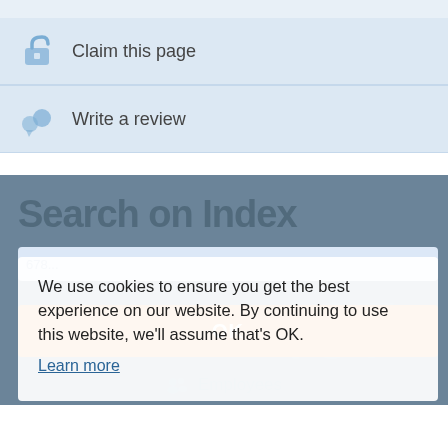Claim this page
Write a review
Search on Index
We use cookies to ensure you get the best experience on our website. By continuing to use this website, we'll assume that's OK.
Learn more
467
OK
Employees